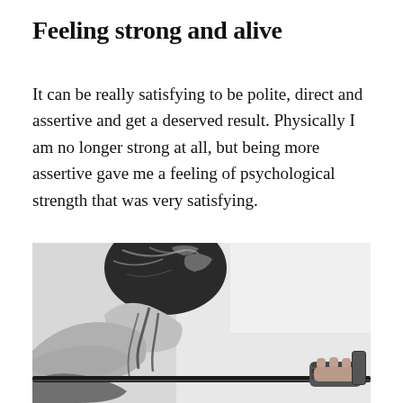Feeling strong and alive
It can be really satisfying to be polite, direct and assertive and get a deserved result. Physically I am no longer strong at all, but being more assertive gave me a feeling of psychological strength that was very satisfying.
[Figure (photo): Black and white photo of a woman viewed from behind, her hair up in a bun, holding a barbell with a wrapped grip, suggesting a weightlifting exercise.]